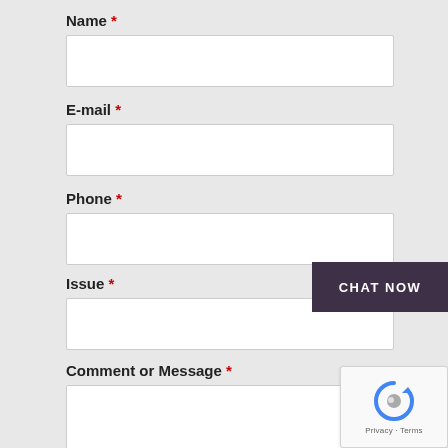Name *
[Figure (other): Empty text input field for Name]
E-mail *
[Figure (other): Empty text input field for E-mail]
Phone *
[Figure (other): Empty text input field for Phone]
CHAT NOW
Issue *
[Figure (other): Empty text input field for Issue]
Comment or Message *
[Figure (other): Empty textarea for Comment or Message]
[Figure (other): reCAPTCHA widget with Privacy - Terms label]